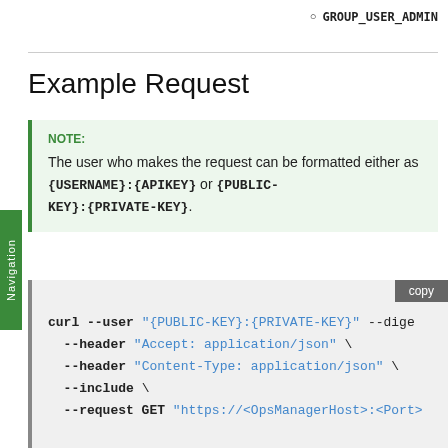GROUP_USER_ADMIN
Example Request
NOTE:
The user who makes the request can be formatted either as {USERNAME}:{APIKEY} or {PUBLIC-KEY}:{PRIVATE-KEY}.
curl --user "{PUBLIC-KEY}:{PRIVATE-KEY}" --dige
  --header "Accept: application/json" \
  --header "Content-Type: application/json" \
  --include \
  --request GET "https://<OpsManagerHost>:<Port>